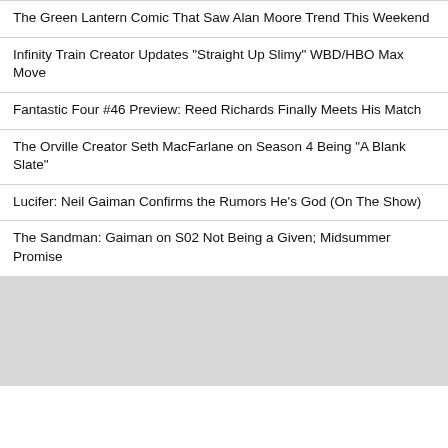The Green Lantern Comic That Saw Alan Moore Trend This Weekend
Infinity Train Creator Updates "Straight Up Slimy" WBD/HBO Max Move
Fantastic Four #46 Preview: Reed Richards Finally Meets His Match
The Orville Creator Seth MacFarlane on Season 4 Being "A Blank Slate"
Lucifer: Neil Gaiman Confirms the Rumors He's God (On The Show)
The Sandman: Gaiman on S02 Not Being a Given; Midsummer Promise
[Figure (other): Gray placeholder image block]